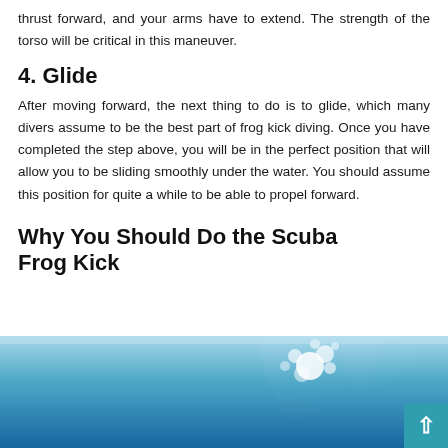thrust forward, and your arms have to extend. The strength of the torso will be critical in this maneuver.
4. Glide
After moving forward, the next thing to do is to glide, which many divers assume to be the best part of frog kick diving. Once you have completed the step above, you will be in the perfect position that will allow you to be sliding smoothly under the water. You should assume this position for quite a while to be able to propel forward.
Why You Should Do the Scuba Frog Kick
[Figure (photo): Underwater photo showing a diver with bubbles rising, in a blue ocean environment. A teal back-to-top button is visible in the bottom right corner.]